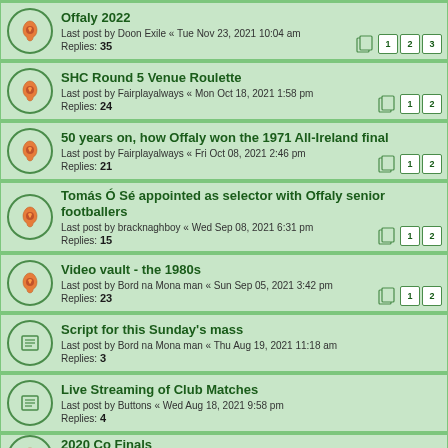Offaly 2022
Last post by Doon Exile « Tue Nov 23, 2021 10:04 am
Replies: 35
Pages: 1 2 3
SHC Round 5 Venue Roulette
Last post by Fairplayalways « Mon Oct 18, 2021 1:58 pm
Replies: 24
Pages: 1 2
50 years on, how Offaly won the 1971 All-Ireland final
Last post by Fairplayalways « Fri Oct 08, 2021 2:46 pm
Replies: 21
Pages: 1 2
Tomás Ó Sé appointed as selector with Offaly senior footballers
Last post by bracknaghboy « Wed Sep 08, 2021 6:31 pm
Replies: 15
Pages: 1 2
Video vault - the 1980s
Last post by Bord na Mona man « Sun Sep 05, 2021 3:42 pm
Replies: 23
Pages: 1 2
Script for this Sunday's mass
Last post by Bord na Mona man « Thu Aug 19, 2021 11:18 am
Replies: 3
Live Streaming of Club Matches
Last post by Buttons « Wed Aug 18, 2021 9:58 pm
Replies: 4
2020 Co Finals
Last post by frankthetank « Tue Aug 17, 2021 12:07 pm
Replies: 19